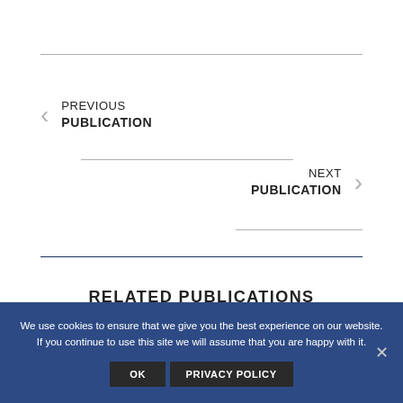PREVIOUS PUBLICATION
NEXT PUBLICATION
RELATED PUBLICATIONS
We use cookies to ensure that we give you the best experience on our website. If you continue to use this site we will assume that you are happy with it.
OK  PRIVACY POLICY